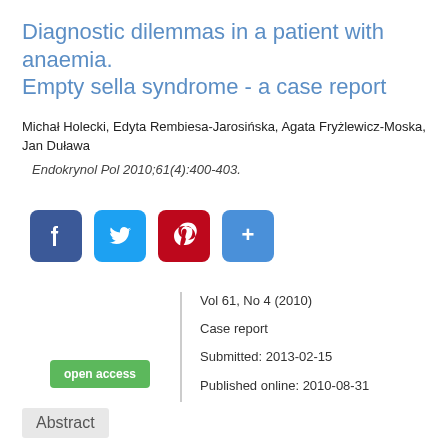Diagnostic dilemmas in a patient with anaemia. Empty sella syndrome - a case report
Michał Holecki, Edyta Rembiesa-Jarosińska, Agata Fryżlewicz-Moska, Jan Duława
Endokrynol Pol 2010;61(4):400-403.
[Figure (infographic): Social sharing buttons: Facebook, Twitter, Pinterest, Share (+)]
Vol 61, No 4 (2010)
Case report
Submitted: 2013-02-15
Published online: 2010-08-31
open access
Abstract